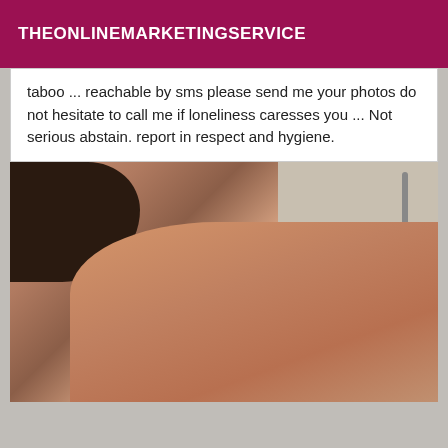THEONLINEMARKETINGSERVICE
taboo ... reachable by sms please send me your photos do not hesitate to call me if loneliness caresses you ... Not serious abstain. report in respect and hygiene.
[Figure (photo): A person photographed from behind showing their neck and shoulder area with small tattoos, in what appears to be a bathroom/shower setting]